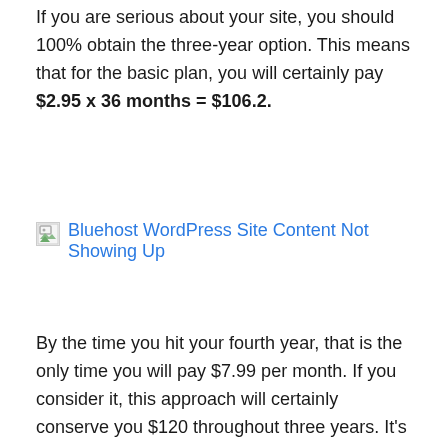If you are serious about your site, you should 100% obtain the three-year option. This means that for the basic plan, you will certainly pay $2.95 x 36 months = $106.2.
[Figure (screenshot): Broken image placeholder with link text 'Bluehost WordPress Site Content Not Showing Up']
By the time you hit your fourth year, that is the only time you will pay $7.99 per month. If you consider it, this approach will certainly conserve you $120 throughout three years. It's not much, however it's still something.